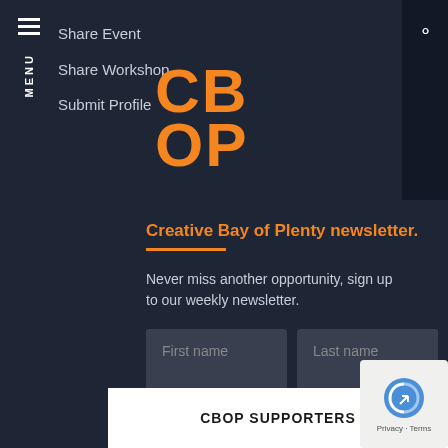MENU
Share Event
Share Workshop
Submit Profile
[Figure (logo): CBOP logo in orange bold letters stacked as CB on top row and OP on bottom row]
Creative Bay of Plenty newsletter.
Never miss another opportunity, sign up to our weekly newsletter.
[Figure (other): Newsletter signup form with First name, Last name, Email address input fields and an orange arrow submit button]
CBOP SUPPORTERS